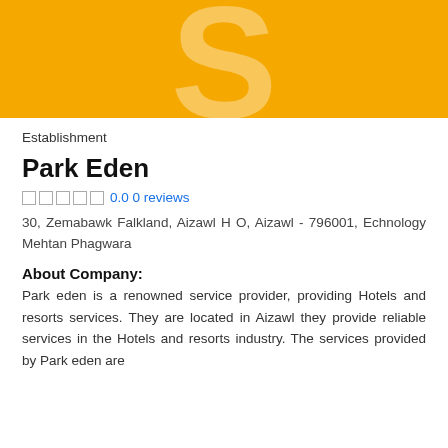[Figure (logo): Yellow/orange banner background with a large semi-transparent white letter S centered]
Establishment
Park Eden
0.0 0 reviews
30, Zemabawk Falkland, Aizawl H O, Aizawl - 796001, Echnology Mehtan Phagwara
About Company:
Park eden is a renowned service provider, providing Hotels and resorts services. They are located in Aizawl they provide reliable services in the Hotels and resorts industry. The services provided by Park eden are